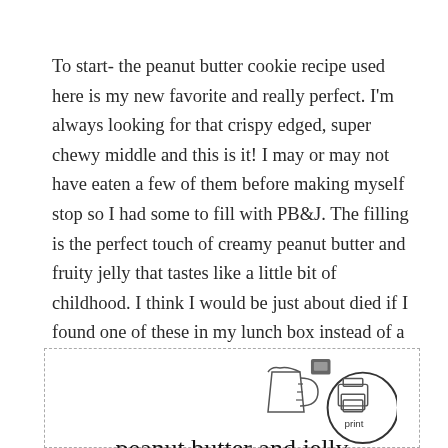To start- the peanut butter cookie recipe used here is my new favorite and really perfect. I'm always looking for that crispy edged, super chewy middle and this is it! I may or may not have eaten a few of them before making myself stop so I had some to fill with PB&J. The filling is the perfect touch of creamy peanut butter and fruity jelly that tastes like a little bit of childhood. I think I would be just about died if I found one of these in my lunch box instead of a sandwich!
[Figure (illustration): Recipe card box with a measuring cup icon, a print button icon, recipe title 'peanut butter and jelly sandwich cookies', and ingredients section header]